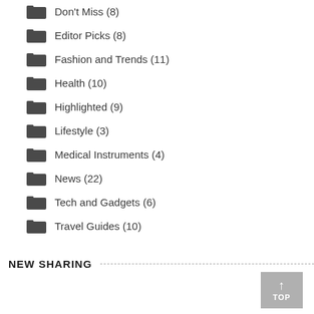Don't Miss (8)
Editor Picks (8)
Fashion and Trends (11)
Health (10)
Highlighted (9)
Lifestyle (3)
Medical Instruments (4)
News (22)
Tech and Gadgets (6)
Travel Guides (10)
NEW SHARING